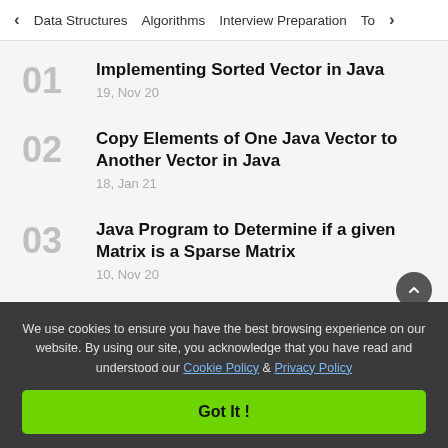< Data Structures   Algorithms   Interview Preparation   To>
01 Implementing Sorted Vector in Java
19, Nov 20
02 Copy Elements of One Java Vector to Another Vector in Java
18, Jan 21
03 Java Program to Determine if a given Matrix is a Sparse Matrix
10, Nov 20
We use cookies to ensure you have the best browsing experience on our website. By using our site, you acknowledge that you have read and understood our Cookie Policy & Privacy Policy
Got It !